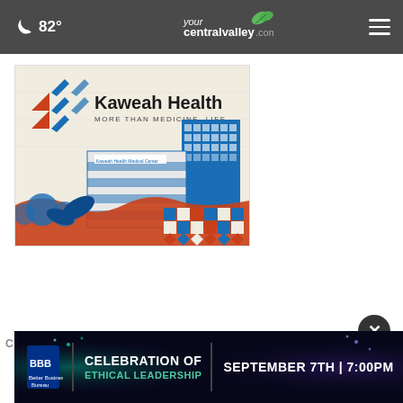82° yourcentralvalley.com
[Figure (illustration): Kaweah Health advertisement showing a stylized illustration of Kaweah Health Medical Center building with blue and orange decorative elements, logo with text 'MORE THAN MEDICINE. LIFE.']
CBS47 ON YOUR SIDE
[Figure (infographic): BBB Celebration of Ethical Leadership banner advertisement. September 7th | 7:00PM with BBB logo and fireworks background.]